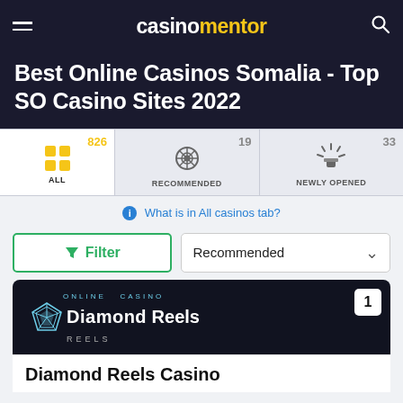casinomentor
Best Online Casinos Somalia - Top SO Casino Sites 2022
[Figure (infographic): Category tabs showing ALL (826), RECOMMENDED (19), NEWLY OPENED (33)]
What is in All casinos tab?
Filter | Recommended
[Figure (logo): Diamond Reels Casino logo on dark background, numbered 1]
Diamond Reels Casino